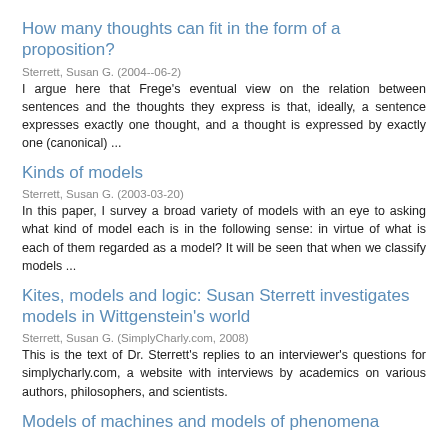How many thoughts can fit in the form of a proposition?
Sterrett, Susan G. (2004--06-2)
I argue here that Frege's eventual view on the relation between sentences and the thoughts they express is that, ideally, a sentence expresses exactly one thought, and a thought is expressed by exactly one (canonical) ...
Kinds of models
Sterrett, Susan G. (2003-03-20)
In this paper, I survey a broad variety of models with an eye to asking what kind of model each is in the following sense: in virtue of what is each of them regarded as a model? It will be seen that when we classify models ...
Kites, models and logic: Susan Sterrett investigates models in Wittgenstein's world
Sterrett, Susan G. (SimplyCharly.com, 2008)
This is the text of Dr. Sterrett's replies to an interviewer's questions for simplycharly.com, a website with interviews by academics on various authors, philosophers, and scientists.
Models of machines and models of phenomena